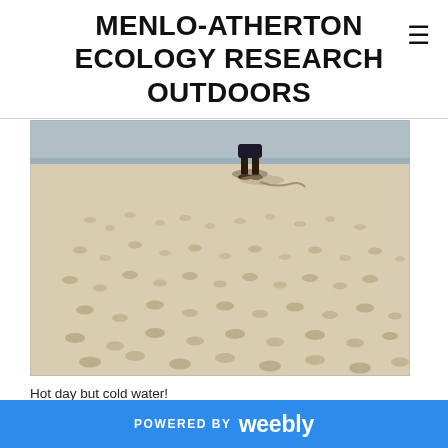MENLO-ATHERTON ECOLOGY RESEARCH OUTDOORS
[Figure (photo): Beach scene with sandy ground covered in footprints. A person is visible in the upper portion standing on the sand with water/wall visible in the background.]
Hot day but cold water!
POWERED BY weebly